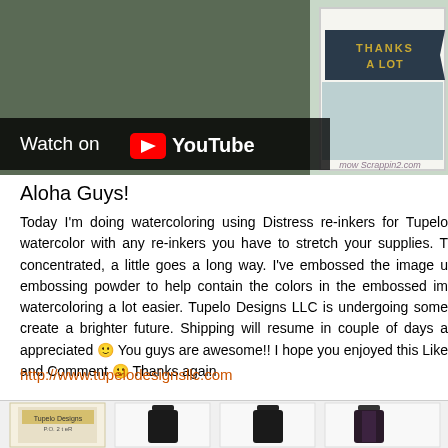[Figure (screenshot): YouTube video thumbnail showing a handmade card with 'Thanks a Lot' text on a banner, with a YouTube 'Watch on YouTube' overlay at bottom left]
Aloha Guys!
Today I'm doing watercoloring using Distress re-inkers for Tupelo watercolor with any re-inkers you have to stretch your supplies. T concentrated, a little goes a long way. I've embossed the image u embossing powder to help contain the colors in the embossed im watercoloring a lot easier. Tupelo Designs LLC is undergoing some create a brighter future. Shipping will resume in couple of days a appreciated 🙂 You guys are awesome!! I hope you enjoyed this Like and Comment 🙂 Thanks again
http://www.tupelodesignsllc.com
[Figure (photo): Product thumbnails showing ink bottles and product packages at the bottom of the page]